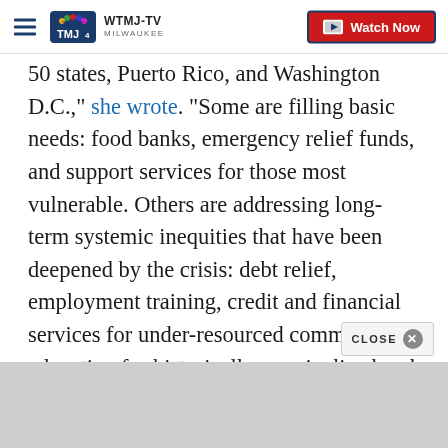WTMJ-TV MILWAUKEE | Watch Now
50 states, Puerto Rico, and Washington D.C.," she wrote. "Some are filling basic needs: food banks, emergency relief funds, and support services for those most vulnerable. Others are addressing long-term systemic inequities that have been deepened by the crisis: debt relief, employment training, credit and financial services for under-resourced communities, education for historically marginalized and underserved people, civil rights advocacy groups, and legal defense funds that take on institutional discrimination."